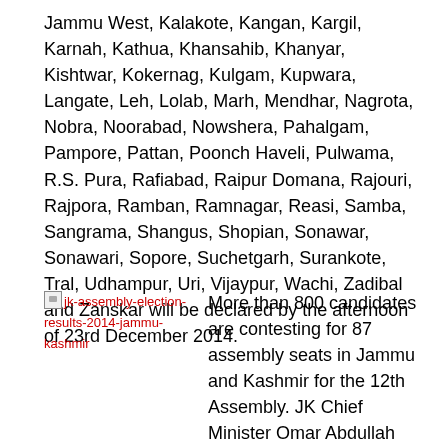Jammu West, Kalakote, Kangan, Kargil, Karnah, Kathua, Khansahib, Khanyar, Kishtwar, Kokernag, Kulgam, Kupwara, Langate, Leh, Lolab, Marh, Mendhar, Nagrota, Nobra, Noorabad, Nowshera, Pahalgam, Pampore, Pattan, Poonch Haveli, Pulwama, R.S. Pura, Rafiabad, Raipur Domana, Rajouri, Rajpora, Ramban, Ramnagar, Reasi, Samba, Sangrama, Shangus, Shopian, Sonawar, Sonawari, Sopore, Suchetgarh, Surankote, Tral, Udhampur, Uri, Vijaypur, Wachi, Zadibal and Zanskar will be declared by the afternoon of 23rd December 2014.
[Figure (illustration): Broken image placeholder with alt text: jk-assembly-election-results-2014-jammu-kashmir]
More than 800 candidates are contesting for 87 assembly seats in Jammu and Kashmir for the 12th Assembly. JK Chief Minister Omar Abdullah and Mufti Muhammad Sayeed (PDP) are among the 821 candidates who are seeking election from the 87 constituencies. Click HERE to